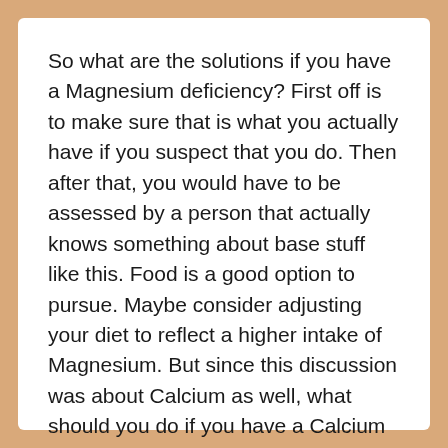So what are the solutions if you have a Magnesium deficiency? First off is to make sure that is what you actually have if you suspect that you do. Then after that, you would have to be assessed by a person that actually knows something about base stuff like this. Food is a good option to pursue. Maybe consider adjusting your diet to reflect a higher intake of Magnesium. But since this discussion was about Calcium as well, what should you do if you have a Calcium deficiency? The very same thing that you would do if you have any other deficiency. That is outlined in a previous sentence. I hope that I have given you something to ponder over in your quest of living.